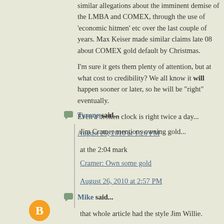similar allegations about the imminent demise of the LMBA and COMEX, through the use of 'economic hitmen' etc over the last couple of years. Max Keiser made similar claims late 08 about COMEX gold default by Christmas.
I'm sure it gets them plenty of attention, but at what cost to credibility? We all know it will happen sooner or later, so he will be "right" eventually.
Even a broken clock is right twice a day...
August 26, 2010 at 1:26 PM
Tyrone said...
Jim Cramer mentions owning gold...
at the 2:04 mark
Cramer: Own some gold
August 26, 2010 at 2:57 PM
Mike said...
that whole article had the style Jim Willie.